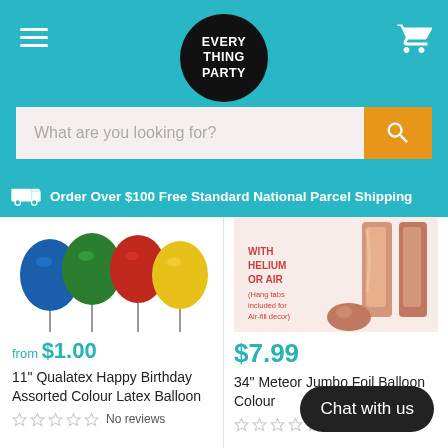EVERY THING PARTY
What are you looking for?
Order Over $100 Free Standard National Parcel Shipping
[Figure (photo): Assorted coloured latex balloons (blue, green, red, yellow) partially visible at top of product card]
from $1.00
11" Qualatex Happy Birthday Assorted Colour Latex Balloon
No reviews
[Figure (photo): Rose gold foil balloon letter, with text overlay: WITH HELIUM OR AIR (Hang tabs included for Air-fill decor)]
$7.99
34" Meteor Jumbo Foil Balloon Colour
No reviews
Chat with us